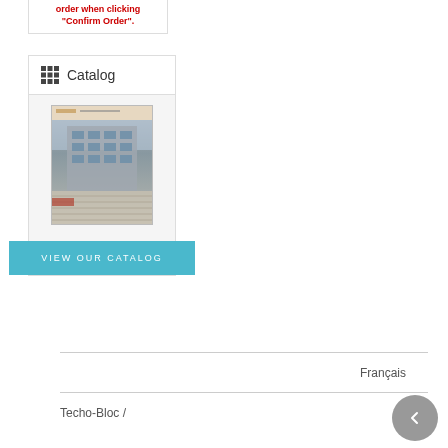order when clicking "Confirm Order".
Catalog
[Figure (photo): Catalog cover showing a building/urban streetscape with paving stones]
VIEW OUR CATALOG
Français
Techo-Bloc /